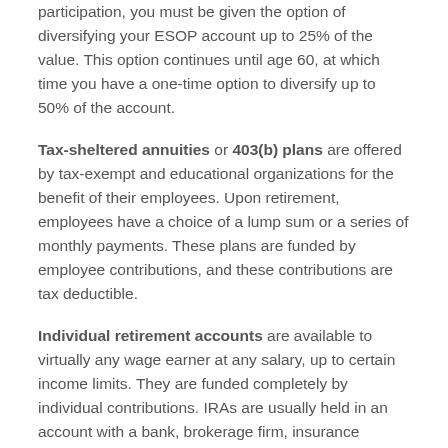participation, you must be given the option of diversifying your ESOP account up to 25% of the value. This option continues until age 60, at which time you have a one-time option to diversify up to 50% of the account.
Tax-sheltered annuities or 403(b) plans are offered by tax-exempt and educational organizations for the benefit of their employees. Upon retirement, employees have a choice of a lump sum or a series of monthly payments. These plans are funded by employee contributions, and these contributions are tax deductible.
Individual retirement accounts are available to virtually any wage earner at any salary, up to certain income limits. They are funded completely by individual contributions. IRAs are usually held in an account with a bank, brokerage firm, insurance company, mutual fund company, credit union, or savings association. They provide either a lump-sum